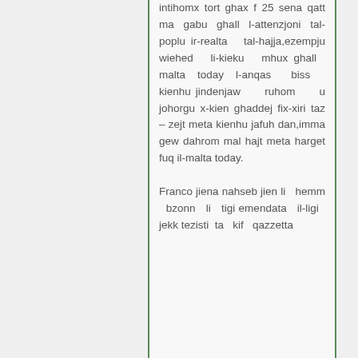intihomx tort ghax f 25 sena qatt ma gabu ghall l-attenzjoni tal-poplu ir-realta tal-hajja,ezempju wiehed li-kieku mhux ghall malta today l-anqas biss kienhu jindenjaw ruhom u johorgu x-kien ghaddej fix-xiri taz – zejt meta kienhu jafuh dan,imma gew dahrom mal hajt meta harget fuq il-malta today. Franco jiena nahseb jien li hemm bzonn li tigi emendata il-ligi jekk tezisti ta kif qazzetta